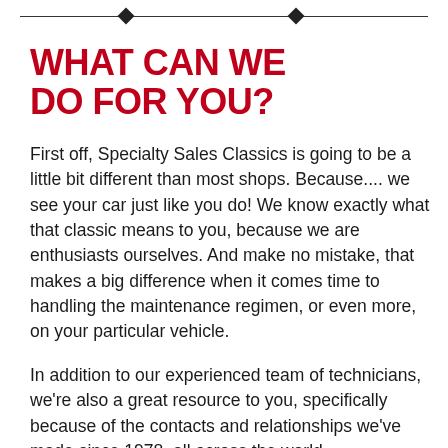WHAT CAN WE DO FOR YOU?
First off, Specialty Sales Classics is going to be a little bit different than most shops. Because.... we see your car just like you do! We know exactly what that classic means to you, because we are enthusiasts ourselves. And make no mistake, that makes a big difference when it comes time to handling the maintenance regimen, or even more, on your particular vehicle.
In addition to our experienced team of technicians, we're also a great resource to you, specifically because of the contacts and relationships we've made since 1978, all across the world.
This means that if we can't accommodate a very specific